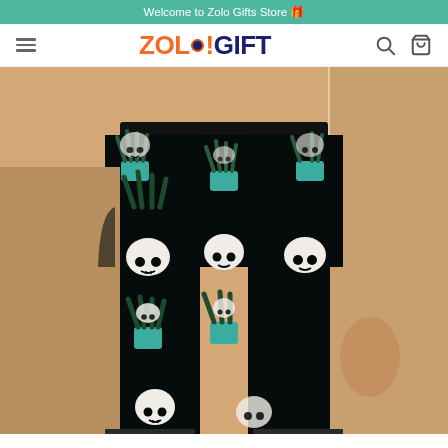Welcome to Zolo Gifts Store 🎁
[Figure (screenshot): E-commerce website header with ZOLO!GIFT logo, hamburger menu, search and cart icons]
[Figure (photo): Male model wearing black swim shorts / board shorts with skull and tropical plant pattern on dark background. The shorts feature repeating motifs of white cartoon skulls and teal/green potted plants with leaves.]